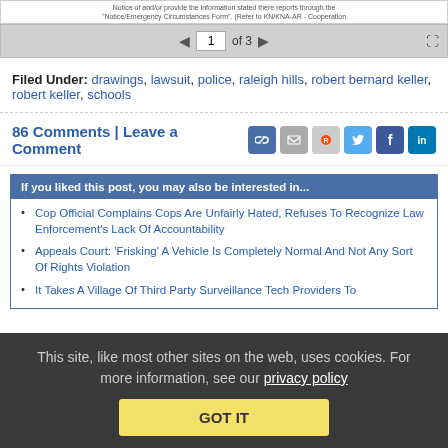[Figure (screenshot): PDF viewer navigation bar showing page 1 of 3 with forward/back arrows and fullscreen icon, with partial text above about Notice/Emergency Circumstances Form]
Filed Under: drawings, lawsuit, police, raleigh hills, robert bernard keller, robert keller, schools
86 Comments | Leave a Comment
If you liked this post, you may also be interested in...
Cop Official Complains Cops Are Unfairly Hated, Refuses To Recognize Law Enforcement's Lack Of Accountability
Appeals Court: 'Frisking' A Vehicle Is Completely Normal And Not Any Sort Of Rights Violation
It Takes A Village Of Third Party Surveillance Tech Providers To
This site, like most other sites on the web, uses cookies. For more information, see our privacy policy
GOT IT